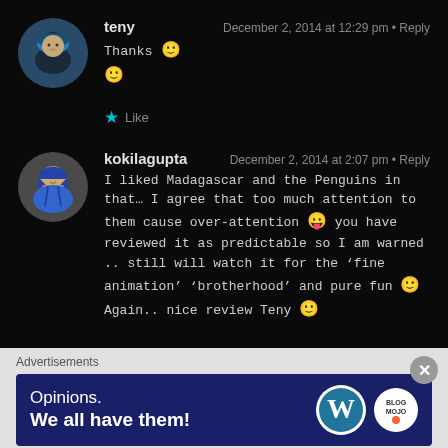teny — December 2, 2014 at 12:29 pm · Reply
Thanks 🙂
🙂
★ Like
kokilagupta — December 2, 2014 at 2:07 pm · Reply
I liked Madagascar and the Penguins in that... I agree that too much attention to them cause over-attention 😛 you have reviewed it as predictable so I am warned .. still will watch it for the 'fine animation' 'brotherhood' and pure fun 🙂 Again.. nice review Teny 🙂
Advertisements
Opinions. We all have them!